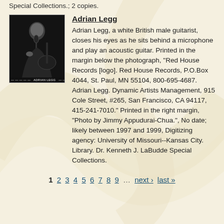Special Collections.; 2 copies.
Adrian Legg
[Figure (photo): Black and white photograph of Adrian Legg, a white British male guitarist, closing his eyes as he sits behind a microphone playing an acoustic guitar. Caption printed at bottom margin reads 'ADRIAN LEGG'.]
Adrian Legg, a white British male guitarist, closes his eyes as he sits behind a microphone and play an acoustic guitar. Printed in the margin below the photograph, "Red House Records [logo]. Red House Records, P.O.Box 4044, St. Paul, MN 55104, 800-695-4687. Adrian Legg. Dynamic Artists Management, 915 Cole Street, #265, San Francisco, CA 94117, 415-241-7010." Printed in the right margin, "Photo by Jimmy Appudurai-Chua.", No date; likely between 1997 and 1999, Digitizing agency: University of Missouri--Kansas City. Library. Dr. Kenneth J. LaBudde Special Collections.
1  2  3  4  5  6  7  8  9  …  next›  last»